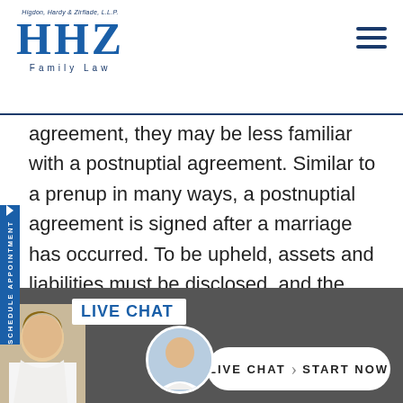Higdon, Hardy & Zirflade, L.L.P. HHZ Family Law
agreement, they may be less familiar with a postnuptial agreement. Similar to a prenup in many ways, a postnuptial agreement is signed after a marriage has occurred. To be upheld, assets and liabilities must be disclosed, and the agreement must not be deemed unconscionable by the court. There are several reasons why a married couple might turn to such a tool. In some cases, it may be a matter of a prenuptial agreement. They can also
[Figure (screenshot): Live chat widget at the bottom of the page with a smiling woman photo, LIVE CHAT label, and a START NOW button]